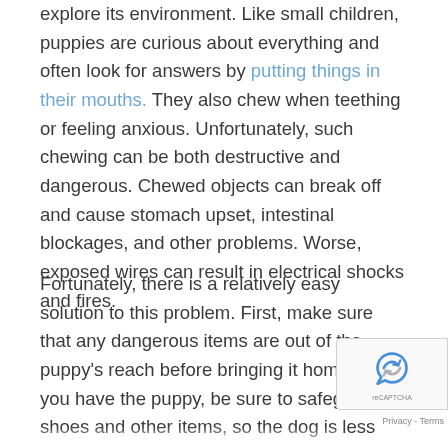explore its environment. Like small children, puppies are curious about everything and often look for answers by putting things in their mouths. They also chew when teething or feeling anxious. Unfortunately, such chewing can be both destructive and dangerous. Chewed objects can break off and cause stomach upset, intestinal blockages, and other problems. Worse, exposed wires can result in electrical shocks and fires.
Fortunately, there is a relatively easy solution to this problem. First, make sure that any dangerous items are out of the puppy's reach before bringing it home. Once you have the puppy, be sure to safeguard shoes and other items, so the dog is less tempted to chew them. Second, it is important to have alternatives to chewing household objects